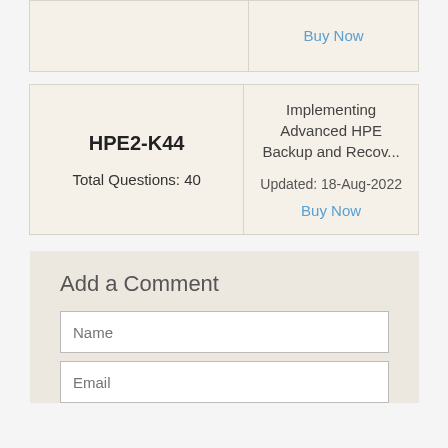|  | Buy Now |
| --- | --- |
|  | Buy Now |
| HPE2-K44
Total Questions: 40 | Implementing Advanced HPE Backup and Recov...
Updated: 18-Aug-2022
Buy Now |
| --- | --- |
| HPE2-K44
Total Questions: 40 | Implementing Advanced HPE Backup and Recov...
Updated: 18-Aug-2022
Buy Now |
Add a Comment
Name
Email